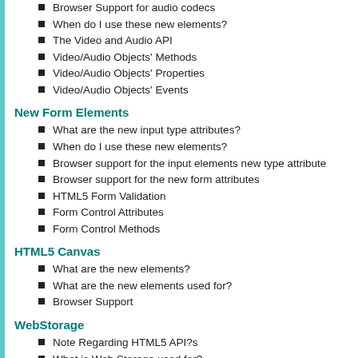Browser Support for audio codecs
When do I use these new elements?
The Video and Audio API
Video/Audio Objects' Methods
Video/Audio Objects' Properties
Video/Audio Objects' Events
New Form Elements
What are the new input type attributes?
When do I use these new elements?
Browser support for the input elements new type attribute
Browser support for the new form attributes
HTML5 Form Validation
Form Control Attributes
Form Control Methods
HTML5 Canvas
What are the new elements?
What are the new elements used for?
Browser Support
WebStorage
Note Regarding HTML5 API?s
What is Web Storage used for?
Browser Support for the Storage Object
The Storage Object
Storage Object MethodsStorage Object Events
Storage event Object Properties
When NOT to use Web Storage
Cookies vs. Session Storage vs. LocalStorage
Firefox Firebug
Chrome Developer Tools